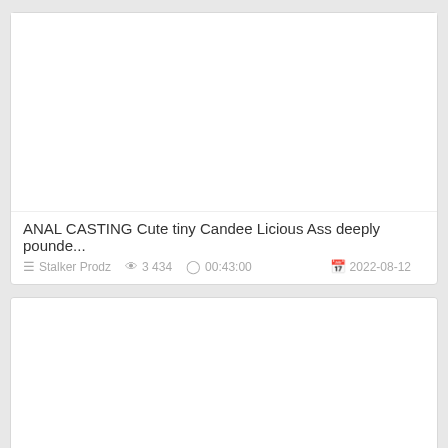[Figure (other): Video thumbnail area, white/blank]
ANAL CASTING Cute tiny Candee Licious Ass deeply pounde...
Stalker Prodz   3 434   00:43:00   2022-08-12
[Figure (other): Second video thumbnail area, white/blank, partially visible]